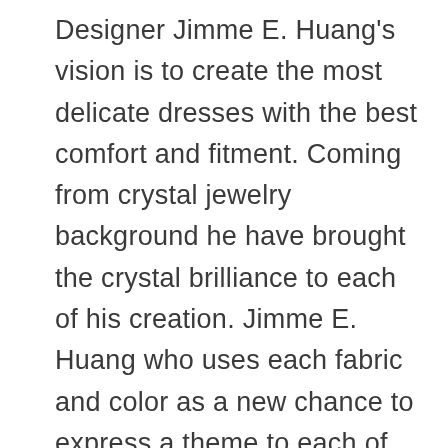Designer Jimme E. Huang's vision is to create the most delicate dresses with the best comfort and fitment. Coming from crystal jewelry background he have brought the crystal brilliance to each of his creation. Jimme E. Huang who uses each fabric and color as a new chance to express a theme to each of his new collection.   He holds an absolute passion for creating stunning dresses with each client in mind; the primary goal and specific character of this fashion house. Being the best dressed is more